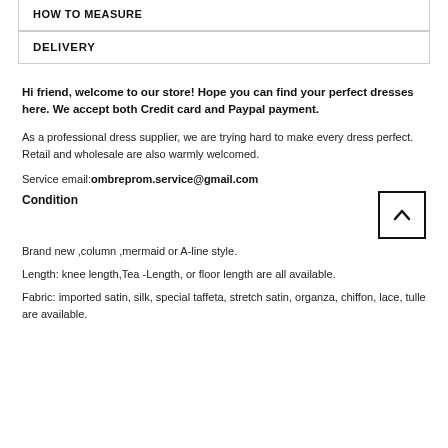HOW TO MEASURE
DELIVERY
Hi friend, welcome to our store! Hope you can find your perfect dresses here. We accept both Credit card and Paypal payment.
As a professional dress supplier, we are trying hard to make every dress perfect. Retail and wholesale are also warmly welcomed.
Service email:ombreprom.service@gmail.com
Condition
Brand new ,column ,mermaid or A-line style.
Length: knee length,Tea -Length, or floor length are all available.
Fabric: imported satin, silk, special taffeta, stretch satin, organza, chiffon, lace, tulle are available.